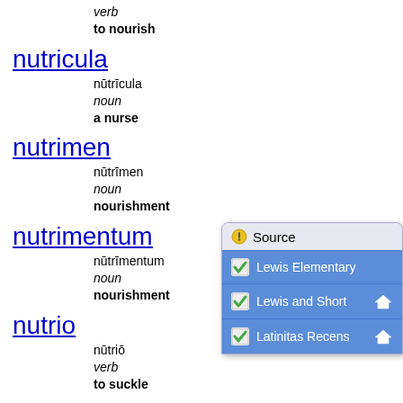verb
to nourish
nutricula
nūtrīcula
noun
a nurse
nutrimen
nūtrīmen
noun
nourishment
nutrimentum
nūtrīmentum
noun
nourishment
nutrio
nūtriō
verb
to suckle
[Figure (screenshot): Popup panel showing Source filter with checkboxes for Lewis Elementary, Lewis and Short, and Latinitas Recens]